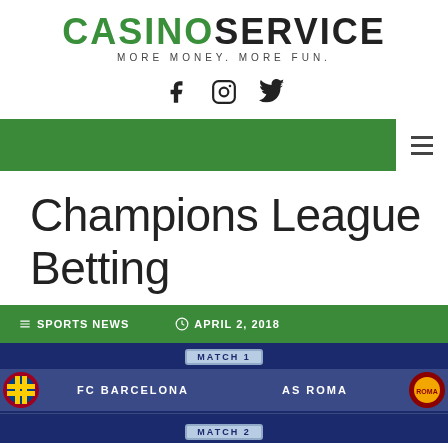CASINO SERVICE — MORE MONEY. MORE FUN.
[Figure (logo): CasinoService logo with green CASINO and black SERVICE text, tagline MORE MONEY. MORE FUN.]
[Figure (infographic): Social media icons: Facebook, Instagram, Twitter]
[Figure (other): Green navigation bar with white hamburger menu button on right]
Champions League Betting
SPORTS NEWS   APRIL 2, 2018
[Figure (photo): Champions League quarterfinal draw showing Match 1: FC Barcelona vs AS Roma, Match 2: Sevilla FC vs FC Bayern München, with team logos on dark blue background]